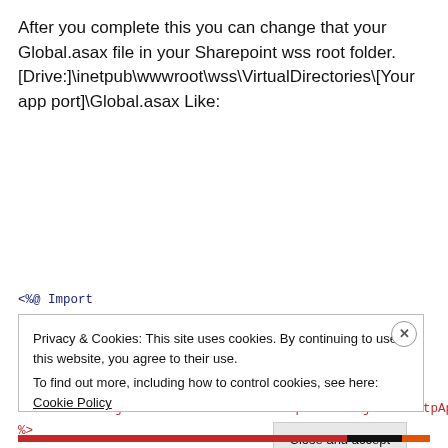After you complete this you can change that your Global.asax file in your Sharepoint wss root folder. [Drive:]\inetpub\wwwroot\wss\VirtualDirectories\[Your app port]\Global.asax Like:
<%@ Import Namespace="Ninject.Framework.Web.Sharepoint" %>
<%@ Import Namespace="Ninject.Core" %>
<%@ Application
Language="C#" inherits="Ninject.Framework.Web.Sharepoint.NinjectSPHttpApplication" %>
Privacy & Cookies: This site uses cookies. By continuing to use this website, you agree to their use.
To find out more, including how to control cookies, see here: Cookie Policy
Close and accept